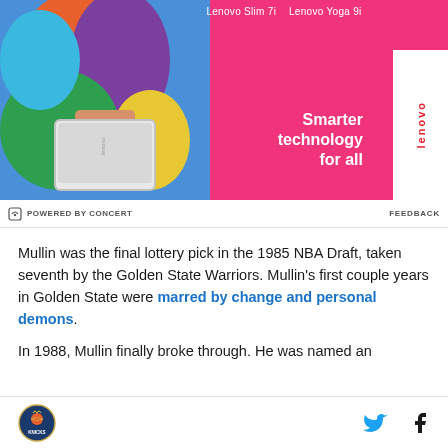[Figure (photo): Lenovo advertisement showing a person in colorful clothing holding a white laptop against a pink/magenta background. Product labels 'Lenovo Slim 7i' and 'Lenovo Yoga 9i' at top. Tagline 'Smarter technology for all' with Lenovo logo on white sidebar.]
POWERED BY CONCERT   FEEDBACK
Mullin was the final lottery pick in the 1985 NBA Draft, taken seventh by the Golden State Warriors. Mullin's first couple years in Golden State were marred by change and personal demons.
In 1988, Mullin finally broke through. He was named an
[Figure (logo): Sports team logo (basketball team) circular emblem on the left, Twitter bird icon and Facebook 'f' icon on the right in the footer bar.]